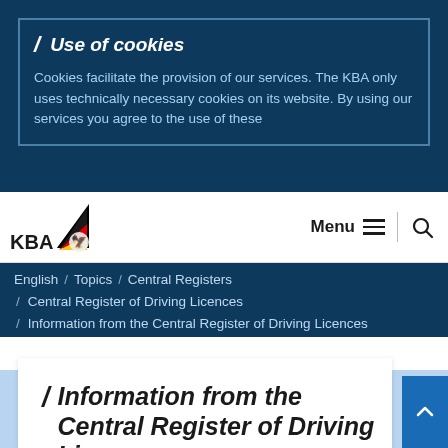Use of cookies
Cookies facilitate the provision of our services. The KBA only uses technically necessary cookies on its website. By using our services you agree to the use of these
[Figure (logo): KBA logo with German flag triangle and eagle emblem]
Menu
English / Topics / Central Registers / Central Register of Driving Licences / Information from the Central Register of Driving Licences
Information from the Central Register of Driving Licences